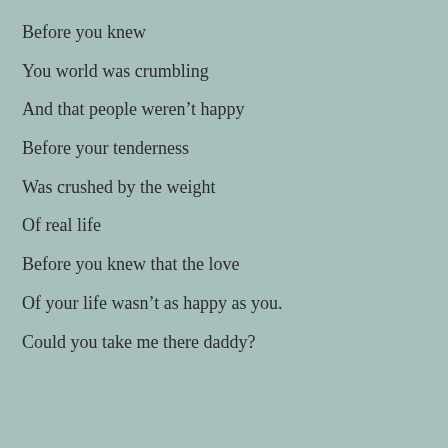Before you knew
You world was crumbling
And that people weren't happy
Before your tenderness
Was crushed by the weight
Of real life
Before you knew that the love
Of your life wasn't as happy as you.
Could you take me there daddy?